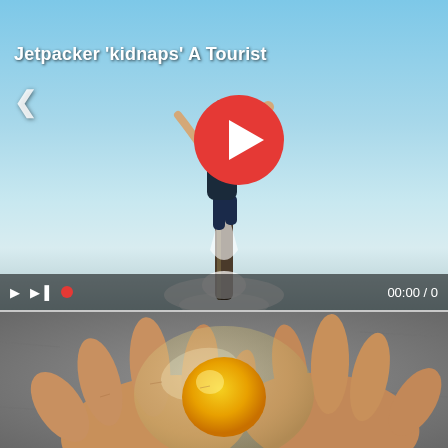[Figure (screenshot): Video player showing a person using a jetpack flying in the sky. A large red play button is centered. Left navigation arrow visible. Title text 'Jetpacker kidnaps A Tourist' overlaid. Video controls bar at bottom showing 00:00 / 0.]
Jetpacker 'kidnaps' A Tourist
[Figure (photo): Close-up photo of a hand holding a translucent egg-like object (shellless egg) with a yellow yolk visible through clear membrane, held over a concrete surface.]